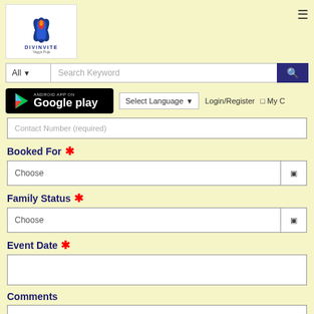[Figure (logo): Divinvite Yagya Puja logo with lotus/flame icon, blue and red colors]
Search Keyword
[Figure (screenshot): Google Play store badge button]
Select Language
Login/Register
My C
Contact Number (required)
Booked For *
Choose
Family Status *
Choose
Event Date *
Comments